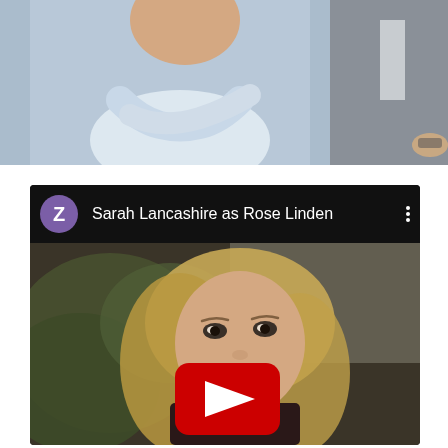[Figure (photo): Two people standing — a person in a light blue top with arms crossed on the left, and a person in a grey suit on the right, partial view. Background is light blue/outdoor.]
[Figure (screenshot): YouTube-style video card with a purple avatar circle showing 'Z', title 'Sarah Lancashire as Rose Linden', three-dot menu icon, and a video thumbnail showing a blonde woman with a YouTube play button overlay.]